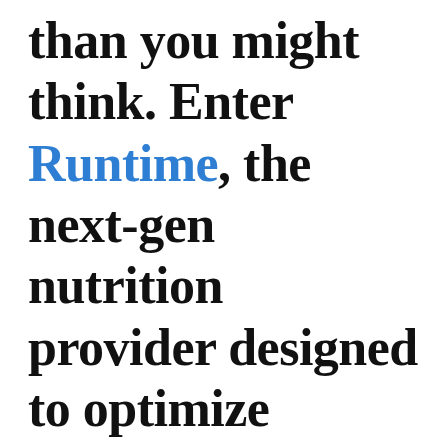than you might think. Enter Runtime, the next-gen nutrition provider designed to optimize performance for everyone. Looking to reach customers beyond Europe,